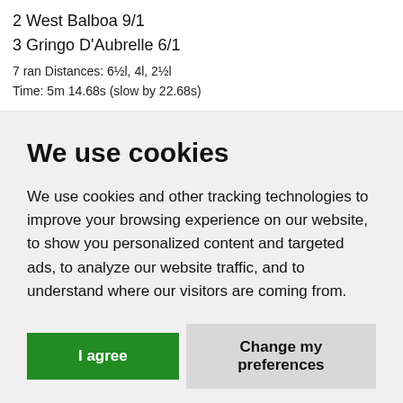2 West Balboa 9/1
3 Gringo D'Aubrelle 6/1
7 ran Distances: 6½l, 4l, 2½l
Time: 5m 14.68s (slow by 22.68s)
We use cookies
We use cookies and other tracking technologies to improve your browsing experience on our website, to show you personalized content and targeted ads, to analyze our website traffic, and to understand where our visitors are coming from.
I agree
Change my preferences